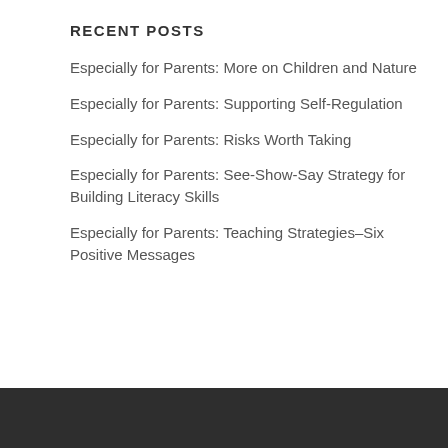RECENT POSTS
Especially for Parents: More on Children and Nature
Especially for Parents: Supporting Self-Regulation
Especially for Parents: Risks Worth Taking
Especially for Parents: See-Show-Say Strategy for Building Literacy Skills
Especially for Parents: Teaching Strategies–Six Positive Messages